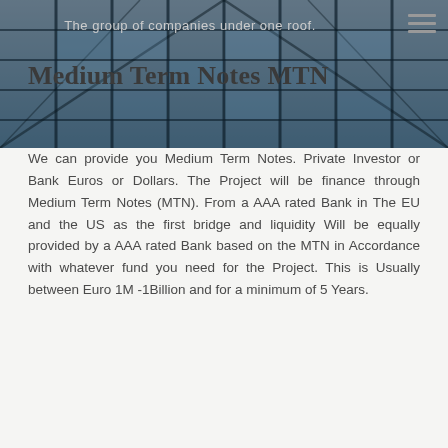[Figure (photo): Background photo of a modern glass office building atrium with steel beams and glass panels viewed from below, in blue-grey tones]
The group of companies under one roof.
Medium Term Notes MTN
We can provide you Medium Term Notes. Private Investor or Bank Euros or Dollars. The Project will be finance through Medium Term Notes (MTN). From a AAA rated Bank in The EU and the US as the first bridge and liquidity Will be equally provided by a AAA rated Bank based on the MTN in Accordance with whatever fund you need for the Project. This is Usually between Euro 1M -1Billion and for a minimum of 5 Years.